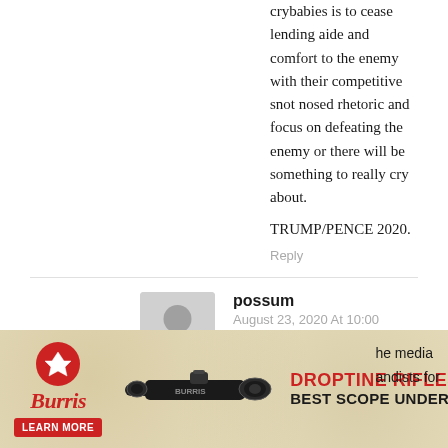crybabies is to cease lending aide and comfort to the enemy with their competitive snot nosed rhetoric and focus on defeating the enemy or there will be something to really cry about.
TRUMP/PENCE 2020.
Reply
possum
August 23, 2020 At 10:00
Fixated on tweets, like our President?
Reply
[Figure (screenshot): Burris Droptine Riflescope advertisement banner showing logo, rifle scope image, and text 'DROPTINE RIFLESCOPE BEST SCOPE UNDER $150' with 'LEARN MORE' button]